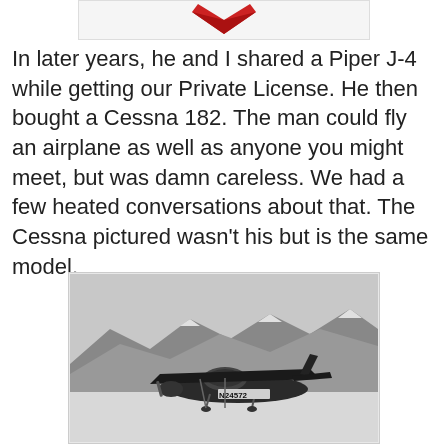[Figure (illustration): Partial view of a red heart-shaped emblem or badge, cropped at top of page]
In later years, he and I shared a Piper J-4 while getting our Private License. He then bought a Cessna 182. The man could fly an airplane as well as anyone you might meet, but was damn careless. We had a few heated conversations about that. The Cessna pictured wasn't his but is the same model.
[Figure (photo): Black and white photograph of a Cessna 182 airplane on a snowy ground with mountains in the background. The aircraft registration number N24572 is visible on the fuselage.]